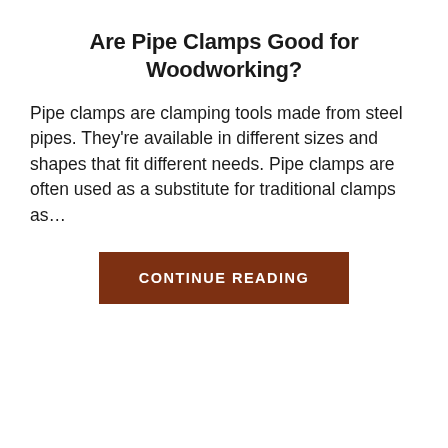Are Pipe Clamps Good for Woodworking?
Pipe clamps are clamping tools made from steel pipes. They're available in different sizes and shapes that fit different needs. Pipe clamps are often used as a substitute for traditional clamps as…
CONTINUE READING